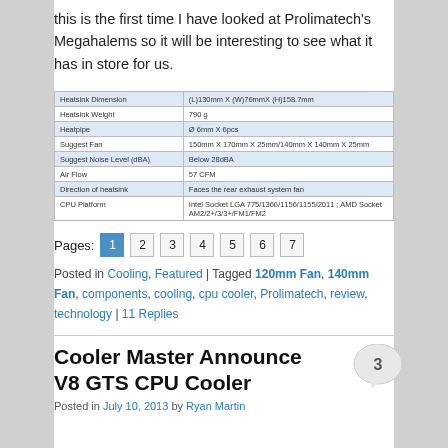this is the first time I have looked at Prolimatech's Megahalems so it will be interesting to see what it has in store for us.
| Heatsink Dimension | (L)130mm X (W)76mmX (H)158.7mm |
| --- | --- |
| Heatsink Weight | 790 g |
| Heatpipe | Ø 6mm X 6pcs |
| Suggest Fan | 150mm X 170mm X 25mm/140mm X 140mm X 25mm |
| Suggest Noise Level (dBA) | Below 28dBA |
| Air Flow | 57 CFM |
| Direction of heatsink | Faces the rear exhaust system fan |
| CPU Platform | Intel Socket LGA 775/1366/1156/1155/2011 ; AMD Socket AM2/2+/3/3+/FM1/FM2 |
Pages: 1 2 3 4 5 6 7
Posted in Cooling, Featured | Tagged 120mm Fan, 140mm Fan, components, cooling, cpu cooler, Prolimatech, review, technology | 11 Replies
Cooler Master Announce V8 GTS CPU Cooler
Posted in July 10, 2013 by Ryan Martin